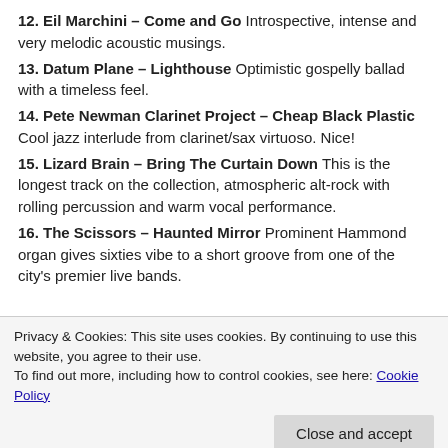12. Eil Marchini – Come and Go Introspective, intense and very melodic acoustic musings.
13. Datum Plane – Lighthouse Optimistic gospelly ballad with a timeless feel.
14. Pete Newman Clarinet Project – Cheap Black Plastic Cool jazz interlude from clarinet/sax virtuoso. Nice!
15. Lizard Brain – Bring The Curtain Down This is the longest track on the collection, atmospheric alt-rock with rolling percussion and warm vocal performance.
16. The Scissors – Haunted Mirror Prominent Hammond organ gives sixties vibe to a short groove from one of the city's premier live bands.
Privacy & Cookies: This site uses cookies. By continuing to use this website, you agree to their use. To find out more, including how to control cookies, see here: Cookie Policy
troubadour gives the full band treatment to an impassioned